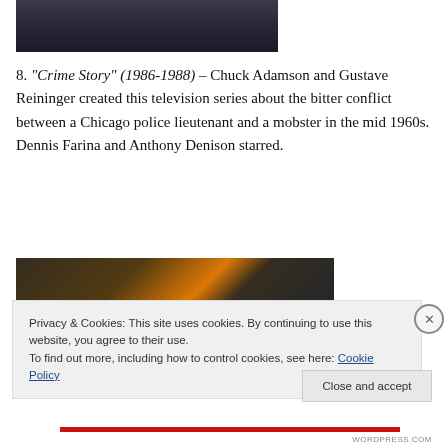[Figure (photo): Partial photo at top of page, cropped — dark background showing bottom portion of an image]
8. “Crime Story” (1986-1988) – Chuck Adamson and Gustave Reininger created this television series about the bitter conflict between a Chicago police lieutenant and a mobster in the mid 1960s. Dennis Farina and Anthony Denison starred.
[Figure (photo): Group of people gathered around a fireplace, dark indoor scene with warm fire glow]
Privacy & Cookies: This site uses cookies. By continuing to use this website, you agree to their use.
To find out more, including how to control cookies, see here: Cookie Policy
Close and accept